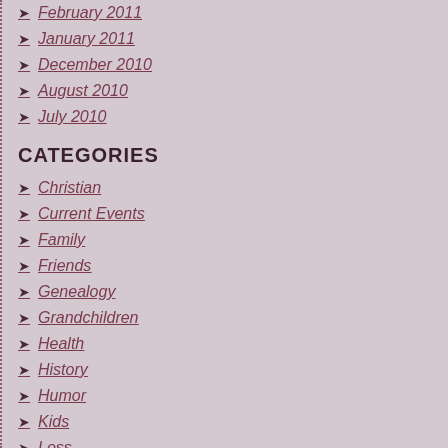February 2011
January 2011
December 2010
August 2010
July 2010
CATEGORIES
Christian
Current Events
Family
Friends
Genealogy
Grandchildren
Health
History
Humor
Kids
Loss
Love
Me
Politics